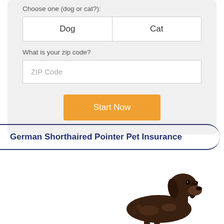Choose one (dog or cat?):
| Dog | Cat |
| --- | --- |
What is your zip code?
ZIP Code
Start Now
German Shorthaired Pointer Pet Insurance
[Figure (photo): Photo of a German Shorthaired Pointer dog, dark brown with spots, looking forward against white background]